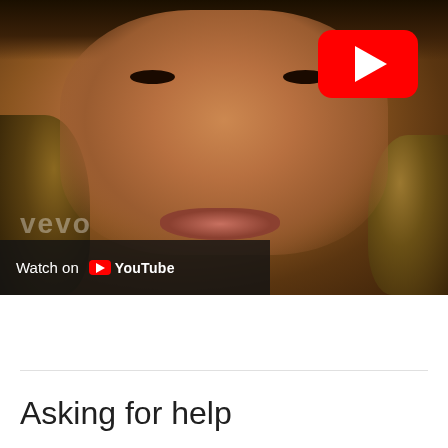[Figure (screenshot): YouTube video thumbnail showing a close-up portrait of a woman with light-brown curly hair, wearing jewelry. A red YouTube play button is visible in the upper right of the thumbnail. A dark overlay bar at the bottom left reads 'Watch on YouTube' with the YouTube logo. A faint VEVO watermark appears in the lower left area.]
Asking for help